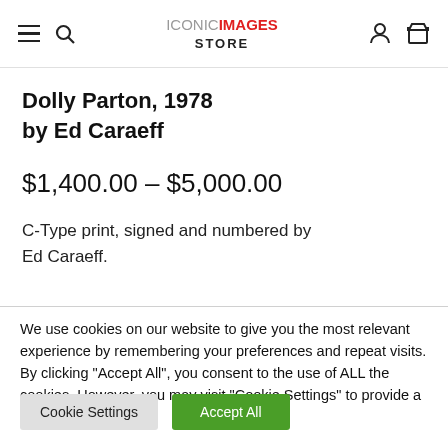ICONIC IMAGES STORE
Dolly Parton, 1978 by Ed Caraeff
$1,400.00 – $5,000.00
C-Type print, signed and numbered by Ed Caraeff.
We use cookies on our website to give you the most relevant experience by remembering your preferences and repeat visits. By clicking "Accept All", you consent to the use of ALL the cookies. However, you may visit "Cookie Settings" to provide a controlled consent.